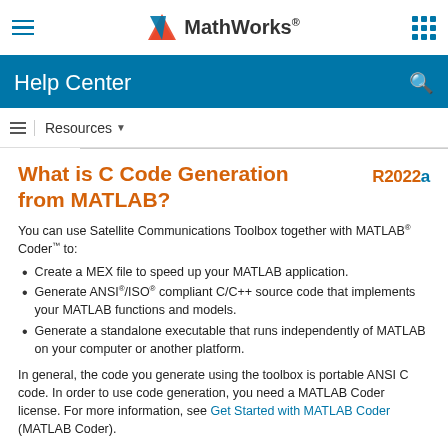MathWorks Help Center
Resources
What is C Code Generation from MATLAB?
You can use Satellite Communications Toolbox together with MATLAB® Coder™ to:
Create a MEX file to speed up your MATLAB application.
Generate ANSI®/ISO® compliant C/C++ source code that implements your MATLAB functions and models.
Generate a standalone executable that runs independently of MATLAB on your computer or another platform.
In general, the code you generate using the toolbox is portable ANSI C code. In order to use code generation, you need a MATLAB Coder license. For more information, see Get Started with MATLAB Coder (MATLAB Coder).